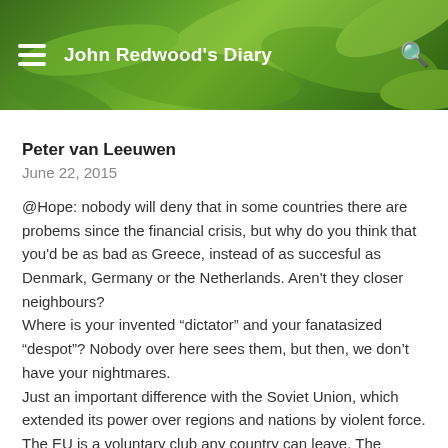John Redwood's Diary
Peter van Leeuwen
June 22, 2015
@Hope: nobody will deny that in some countries there are probems since the financial crisis, but why do you think that you'd be as bad as Greece, instead of as succesful as Denmark, Germany or the Netherlands. Aren't they closer neighbours?
Where is your invented “dictator” and your fanatasized “despot”? Nobody over here sees them, but then, we don’t have your nightmares.
Just an important difference with the Soviet Union, which extended its power over regions and nations by violent force. The EU is a voluntary club any country can leave. The opposite has always been happening – countries ask to join the EU...